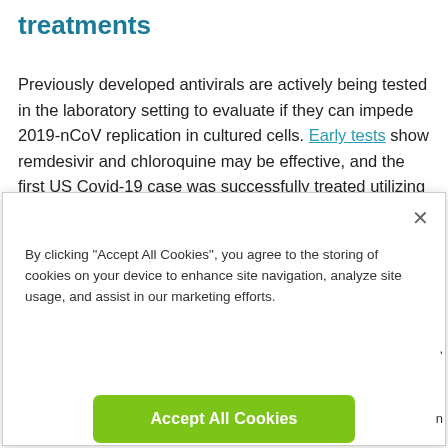treatments
Previously developed antivirals are actively being tested in the laboratory setting to evaluate if they can impede 2019-nCoV replication in cultured cells. Early tests show remdesivir and chloroquine may be effective, and the first US Covid-19 case was successfully treated utilizing
[Figure (screenshot): Cookie consent modal dialog with close button (×), message about accepting cookies, an 'Accept All Cookies' green button, and a 'Cookies Settings' outlined button.]